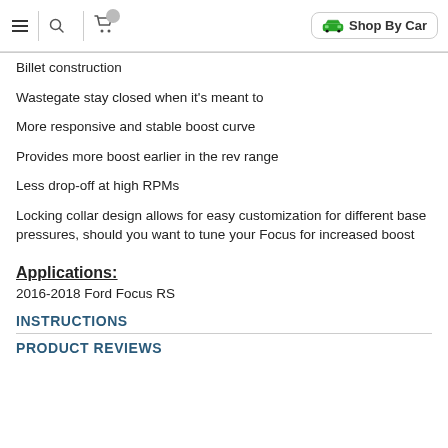Navigation bar with hamburger menu, search icon, cart icon, and Shop By Car button
Billet construction
Wastegate stay closed when it's meant to
More responsive and stable boost curve
Provides more boost earlier in the rev range
Less drop-off at high RPMs
Locking collar design allows for easy customization for different base pressures, should you want to tune your Focus for increased boost
Applications:
2016-2018 Ford Focus RS
INSTRUCTIONS
PRODUCT REVIEWS